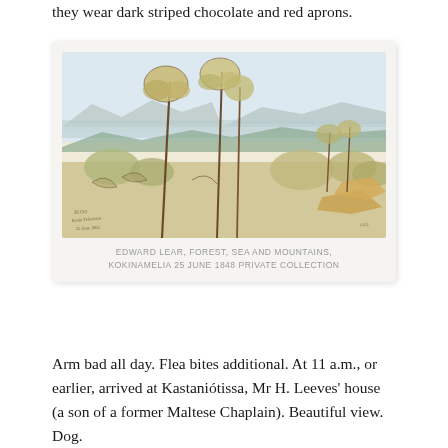they wear dark striped chocolate and red aprons.
[Figure (illustration): Watercolour and pen sketch by Edward Lear showing a landscape of forest, sea and mountains at Kokinamelia, dated 25 June 1848. Tall pine trees in the foreground with a wide view of mountains and sea in the background. Light washes of blue, green, and ochre.]
EDWARD LEAR, FOREST, SEA AND MOUNTAINS, KOKINAMELIA 25 JUNE 1848 PRIVATE COLLECTION
Arm bad all day. Flea bites additional. At 11 a.m., or earlier, arrived at Kastaniótissa, Mr H. Leeves' house (a son of a former Maltese Chaplain). Beautiful view. Dog.